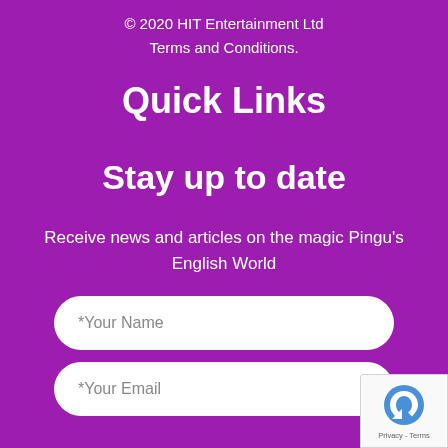© 2020 HIT Entertainment Ltd
Terms and Conditions.
Quick Links
Stay up to date
Receive news and articles on the magic Pingu's English World
*Your Name
*Your Email